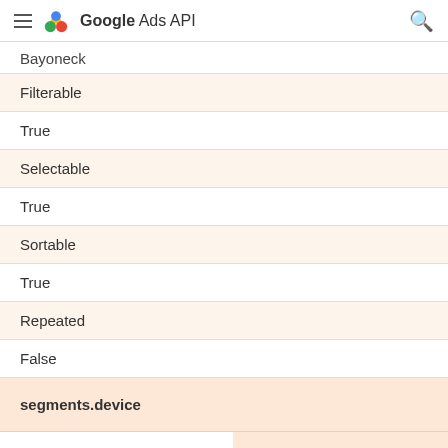Google Ads API
Bayoneck
| Property | Value |
| --- | --- |
| Filterable | True |
| Selectable | True |
| Sortable | True |
| Repeated | False |
segments.device
Field description